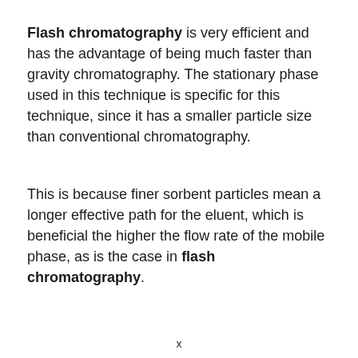Flash chromatography is very efficient and has the advantage of being much faster than gravity chromatography. The stationary phase used in this technique is specific for this technique, since it has a smaller particle size than conventional chromatography.
This is because finer sorbent particles mean a longer effective path for the eluent, which is beneficial the higher the flow rate of the mobile phase, as is the case in flash chromatography.
x